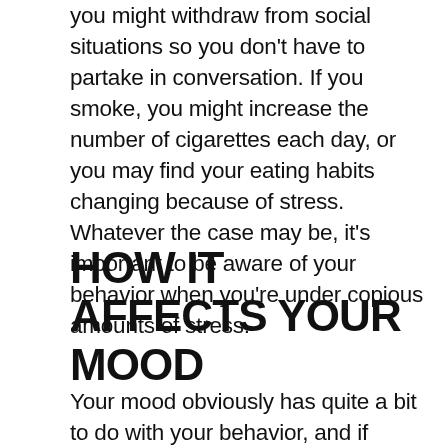you might withdraw from social situations so you don't have to partake in conversation. If you smoke, you might increase the number of cigarettes each day, or you may find your eating habits changing because of stress. Whatever the case may be, it's important to be aware of your behavior when you're under copious amounts of stress.
HOW IT AFFECTS YOUR MOOD
Your mood obviously has quite a bit to do with your behavior, and if you're feeling anxious or irritable, you may lash out in anger at people with whom you normally get along. You might experience depression that leads to a lack of motivation or desire to interact with other people, and if you feel restless you may not be